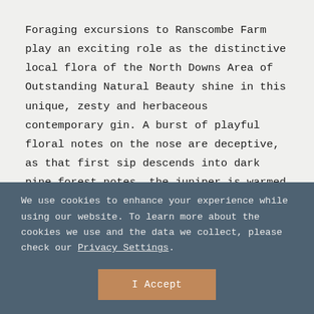Foraging excursions to Ranscombe Farm play an exciting role as the distinctive local flora of the North Downs Area of Outstanding Natural Beauty shine in this unique, zesty and herbaceous contemporary gin. A burst of playful floral notes on the nose are deceptive, as that first sip descends into dark pine forest notes, the juniper is warmed with exotic tangerine and jasmine. A tang of citrus bites,
We use cookies to enhance your experience while using our website. To learn more about the cookies we use and the data we collect, please check our Privacy Settings.
I Accept